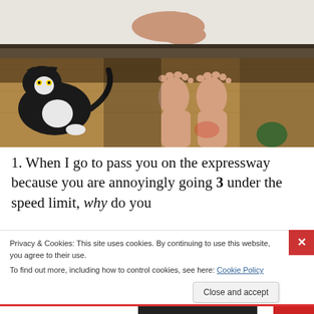[Figure (photo): Photo showing a person's bare feet on a wooden floor next to a black and white cat, with legs visible and a bed edge at the top of the frame. A person's hand is also partially visible resting on what appears to be a white bed surface.]
1. When I go to pass you on the expressway because you are annoyingly going 3 under the speed limit, why do you
Privacy & Cookies: This site uses cookies. By continuing to use this website, you agree to their use.
To find out more, including how to control cookies, see here: Cookie Policy
Close and accept